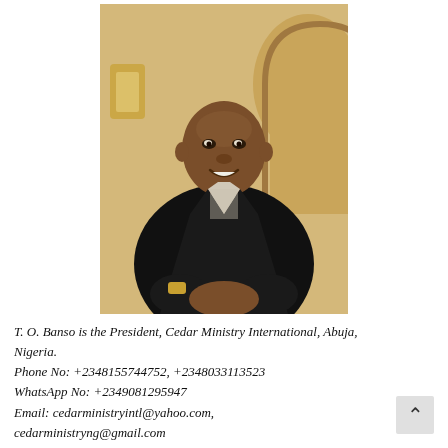[Figure (photo): Portrait photo of T. O. Banso, a man in a black suit with a light-colored tie, seated, smiling at the camera. Background shows a painted or decorated wall with an arch shape.]
T. O. Banso is the President, Cedar Ministry International, Abuja, Nigeria. Phone No: +2348155744752, +2348033113523 WhatsApp No: +2349081295947 Email: cedarministryintl@yahoo.com, cedarministryng@gmail.com Website: www.cedarministry.org